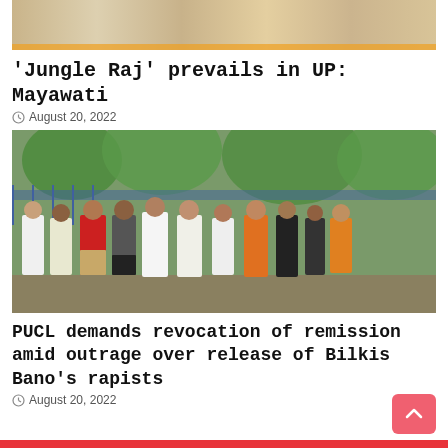[Figure (photo): Partial top image of a news article, cropped — shows fabric/clothing in warm tones]
'Jungle Raj' prevails in UP: Mayawati
August 20, 2022
[Figure (photo): Group photo of about 10-11 people standing outdoors near a gate with blue railings and green trees in background. People wearing various colored clothing including white kurtas, red shirt, dark pants, orange kurta.]
PUCL demands revocation of remission amid outrage over release of Bilkis Bano’s rapists
August 20, 2022